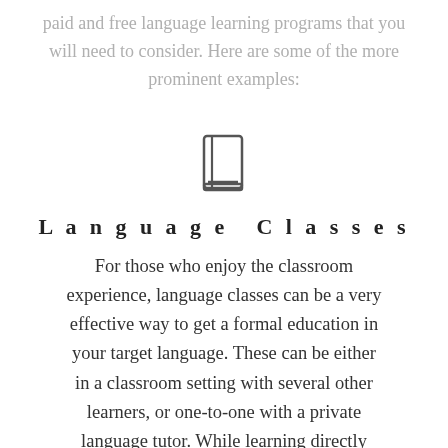paid and free language learning programs that you will need to consider. Here are some of the more prominent examples:
[Figure (illustration): Book icon — outline of an open book/notebook]
Language Classes
For those who enjoy the classroom experience, language classes can be a very effective way to get a formal education in your target language. These can be either in a classroom setting with several other learners, or one-to-one with a private language tutor. While learning directly with a private tutor will get you a more